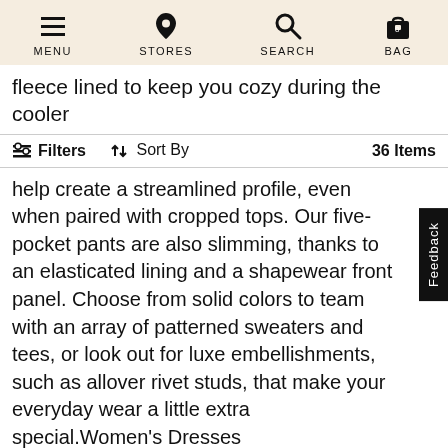MENU  STORES  SEARCH  BAG
fleece lined to keep you cozy during the cooler
Filters  Sort By  36 Items
help create a streamlined profile, even when paired with cropped tops. Our five-pocket pants are also slimming, thanks to an elasticated lining and a shapewear front panel. Choose from solid colors to team with an array of patterned sweaters and tees, or look out for luxe embellishments, such as allover rivet studs, that make your everyday wear a little extra special.Women's Dresses
From Saturday evening drinks to Sunday brunches, our selection of Women's dresses strike the balance between comfortable and easy-to-wear fabrics include stretchy jersey and soft cotton, reworked with contemporary elements such as high-to-low hemlines and